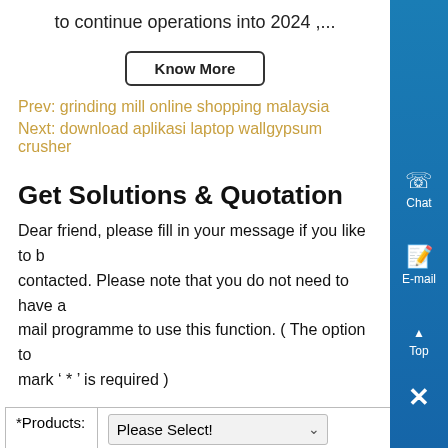to continue operations into 2024 ,...
Know More
Prev: grinding mill online shopping malaysia
Next: download aplikasi laptop wallgypsum crusher
Get Solutions & Quotation
Dear friend, please fill in your message if you like to b... contacted. Please note that you do not need to have a... mail programme to use this function. ( The option to mark ' * ' is required )
| *Products: | Please Select! |
| *Materials: | Basalt, Barite, Bentonite, Calcite, Coal, Copper, Dolomite, Feldspar, Gypsum |